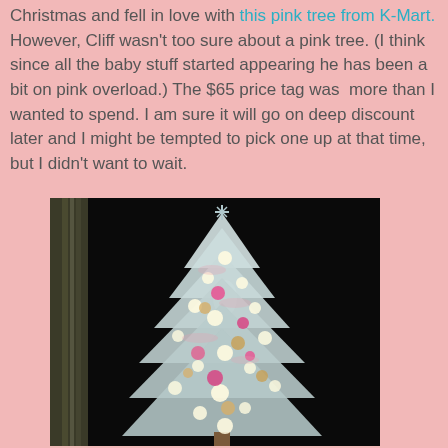Christmas and fell in love with this pink tree from K-Mart. However, Cliff wasn't too sure about a pink tree. (I think since all the baby stuff started appearing he has been a bit on pink overload.) The $65 price tag was  more than I wanted to spend. I am sure it will go on deep discount later and I might be tempted to pick one up at that time, but I didn't want to wait.
[Figure (photo): A white Christmas tree decorated with pink and gold ornaments and white lights, photographed against a dark background with a curtain visible on the left side.]